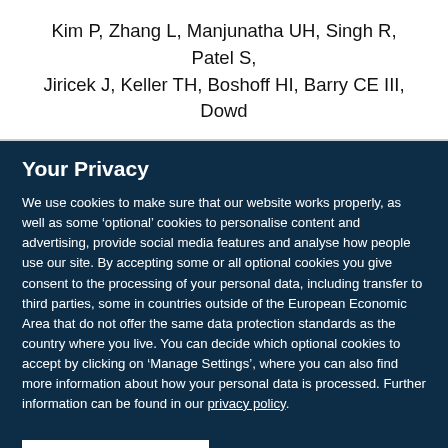Kim P, Zhang L, Manjunatha UH, Singh R, Patel S, Jiricek J, Keller TH, Boshoff HI, Barry CE III, Dowd
Your Privacy
We use cookies to make sure that our website works properly, as well as some ‘optional’ cookies to personalise content and advertising, provide social media features and analyse how people use our site. By accepting some or all optional cookies you give consent to the processing of your personal data, including transfer to third parties, some in countries outside of the European Economic Area that do not offer the same data protection standards as the country where you live. You can decide which optional cookies to accept by clicking on ‘Manage Settings’, where you can also find more information about how your personal data is processed. Further information can be found in our privacy policy.